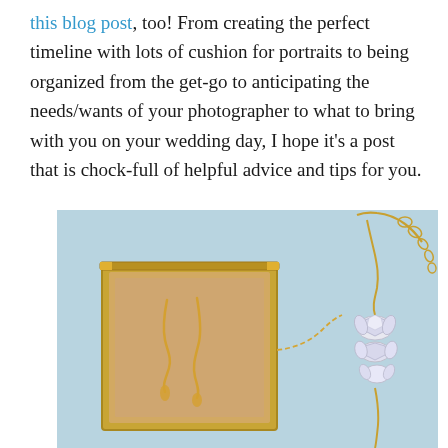this blog post, too! From creating the perfect timeline with lots of cushion for portraits to being organized from the get-go to anticipating the needs/wants of your photographer to what to bring with you on your wedding day, I hope it's a post that is chock-full of helpful advice and tips for you.
[Figure (photo): Close-up photo on a light blue background showing a gold-framed glass jewelry box open with gold drop earrings inside, and a crystal/rhinestone bracelet with gold chain on the right side.]